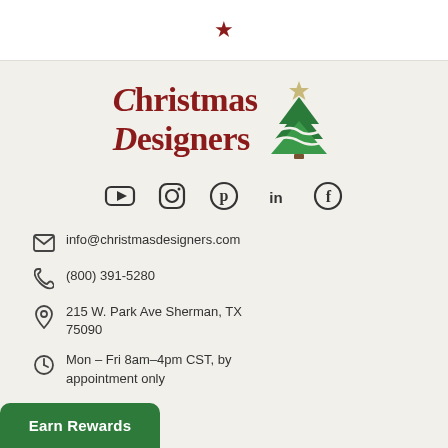[Figure (logo): Christmas Designers logo with red text and green Christmas tree graphic]
[Figure (infographic): Social media icons: YouTube, Instagram, Pinterest, LinkedIn, Facebook]
info@christmasdesigners.com
(800) 391-5280
215 W. Park Ave Sherman, TX 75090
Mon - Fri 8am-4pm CST, by appointment only
Earn Rewards